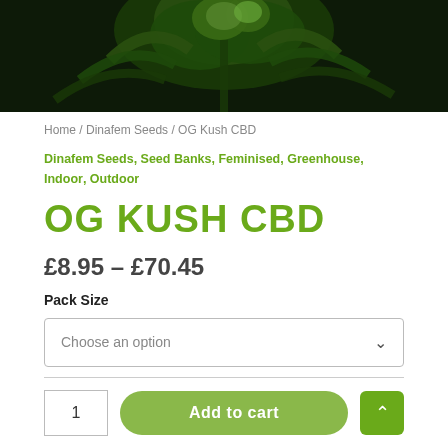[Figure (photo): Close-up photo of a cannabis plant (OG Kush CBD) with green buds and leaves against a dark background]
Home / Dinafem Seeds / OG Kush CBD
Dinafem Seeds, Seed Banks, Feminised, Greenhouse, Indoor, Outdoor
OG KUSH CBD
£8.95 – £70.45
Pack Size
Choose an option
1
Add to cart
SKU: N/A